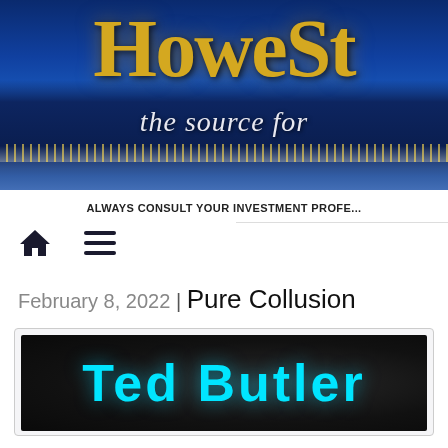[Figure (screenshot): HoweStreet website banner with city skyline at night, showing partial logo text 'HoweSt' and tagline 'the source for' in gold serif font on dark blue background]
ALWAYS CONSULT YOUR INVESTMENT PROFE...
[Figure (other): Home icon (house) and hamburger menu icon navigation elements]
February 8, 2022 | Pure Collusion
[Figure (photo): Ted Butler name banner with cyan/aqua bold text on dark background]